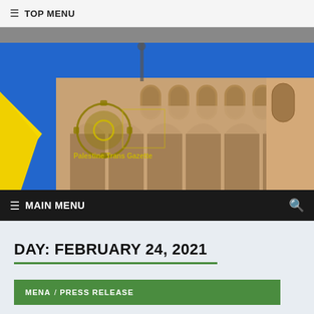≡ TOP MENU
[Figure (photo): Hero banner image of Al-Aqsa Mosque exterior with blue sky, overlaid with Palestine Trans Gazette logo (gear/circle icon with Arabic/English text). Yellow diagonal stripe on left side of banner.]
≡ MAIN MENU (search icon)
DAY: FEBRUARY 24, 2021
MENA / PRESS RELEASE